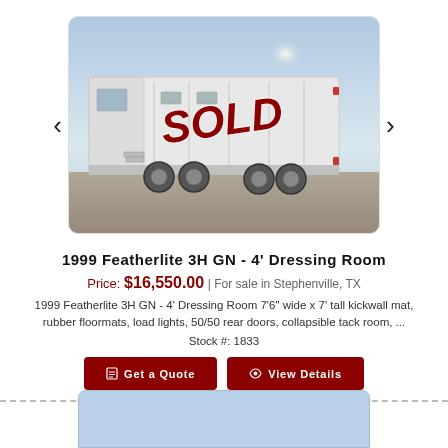[Figure (photo): Photo of a white 1999 Featherlite 3H GN horse trailer with a large red 'SOLD' text overlay diagonally across the image. The trailer is parked outdoors with a grey sky background. Navigation arrows (< >) appear on either side of the image for carousel functionality.]
1999 Featherlite 3H GN - 4' Dressing Room
Price: $16,550.00 | For sale in Stephenville, TX
1999 Featherlite 3H GN - 4' Dressing Room 7'6" wide x 7' tall kickwall mat, rubber floormats, load lights, 50/50 rear doors, collapsible tack room, ...
Stock #: 1833
Get a Quote | View Details